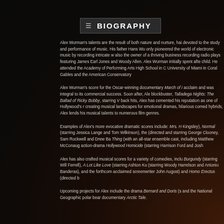BIOGRAPHY
Alex Wurman's talents are the result of both nature and nurture, hai devoted to the study and performance of music. His father Hans Wu only pioneered the world of electronic music by recording intricate w also the owner of a thriving business recording radio plays featuring James Earl Jones and Woody Allen. Alex Wurman initially spent afte child. He attended the Academy of Performing Arts High School in C University of Miami in Coral Gables and the American Conservatory
Alex Wurman's score for the Oscar-winning documentary March of i acclaim and was integral to its commercial success. Soon after, Ale blockbuster, Talladega Nights: The Ballad of Ricky Bobby, starring V back hits, Alex has cemented his reputation as one of Hollywood's r creating musical landscapes for emotional dramas, hilarious comed hybrids, Alex lends his musical talents to numerous film genres.
Examples of Alex's more evocative dramatic scores include: Mrs. H Kingsley), Normal (starring Jessica Lange and Tom Wilkinson), the (directed and starring George Clooney, Sam Rockwell and Drew Ba Thing (with an all-star ensemble cast, including Matthew McConaug action-drama Hollywood Homicide (starring Harrison Ford and Josh
Alex has also crafted musical scores for a variety of comedies, inclu Burgundy (starring Will Ferrell), A Lot Like Love (starring Ashton Ku (starring Woody Harrelson and Antonio Banderas), and the forthcom acclaimed screenwriter John August) and Homo Erectus (directed b
Upcoming projects for Alex include the drama Bernard and Doris (s and the National Geographic polar bear documentary Arctic Tale.